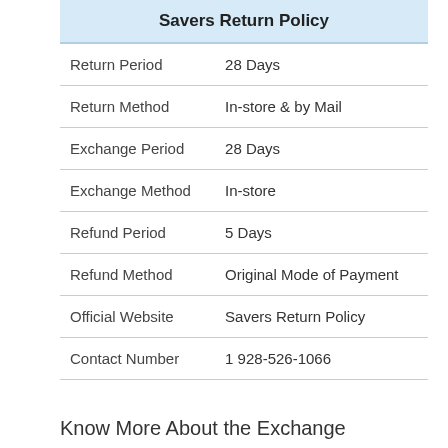| Savers Return Policy |  |
| --- | --- |
| Return Period | 28 Days |
| Return Method | In-store & by Mail |
| Exchange Period | 28 Days |
| Exchange Method | In-store |
| Refund Period | 5 Days |
| Refund Method | Original Mode of Payment |
| Official Website | Savers Return Policy |
| Contact Number | 1 928-526-1066 |
Know More About the Exchange